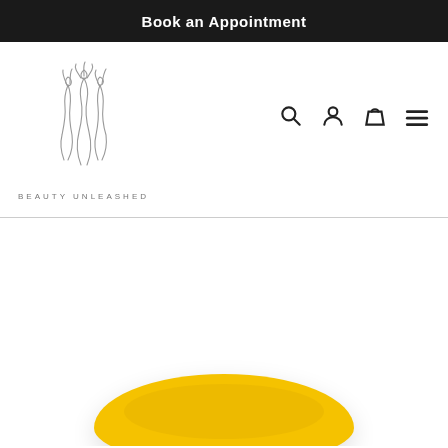Book an Appointment
[Figure (logo): Beauty Unleashed logo: stylized line drawing of three feminine figures, with text 'BEAUTY UNLEASHED' below]
[Figure (photo): Yellow makeup bag or cosmetic pouch, partially visible at bottom of page]